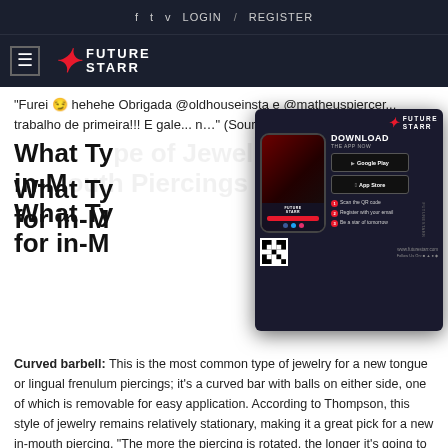f  t  v  LOGIN  /  REGISTER
[Figure (logo): FutureStarr logo with hamburger menu icon on dark navy background]
“Furei 😏 hehehe Obrigada @oldhouseinsta e @matheuspiercer... trabalho de primeira!!! E gale... n...” (Source:iley Piercing Ideas
What Type of Jewelry Is Used for in-Mouth...
Curved barbell: This is the most common type of jewelry for a new tongue or lingual frenulum piercings; it’s a curved bar with balls on either side, one of which is removable for easy application. According to Thompson, this style of jewelry remains relatively stationary, making it a great pick for a new in-mouth piercing. “The more the piercing is rotated, the longer it’s going to take for it to heal.”
[Figure (infographic): FutureStarr app download advertisement with phone mockup, Google Play and App Store buttons, QR code, and steps to become a star]